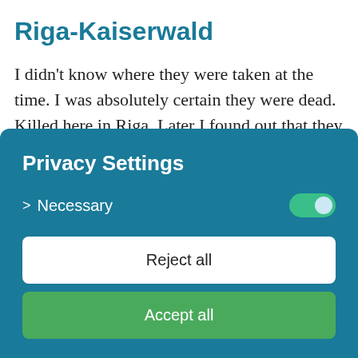Riga-Kaiserwald
I didn't know where they were taken at the time. I was absolutely certain they were dead. Killed here in Riga. Later I found out that they had been taken to Auschwitz. And I had a brother in Auschwitz.
Privacy Settings
> Necessary
Reject all
Accept all